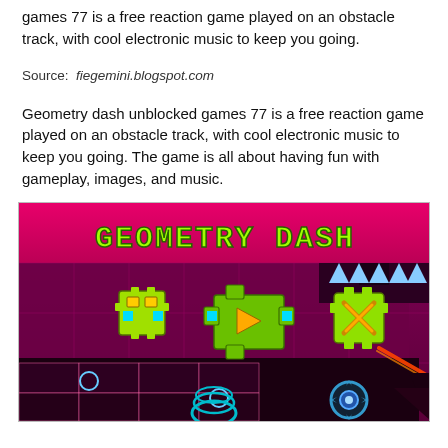games 77 is a free reaction game played on an obstacle track, with cool electronic music to keep you going.
Source: fiegemini.blogspot.com
Geometry dash unblocked games 77 is a free reaction game played on an obstacle track, with cool electronic music to keep you going. The game is all about having fun with gameplay, images, and music.
[Figure (screenshot): Geometry Dash game screenshot showing the game title in green pixel font on a pink/magenta banner, with game characters and obstacle track elements on a dark magenta background. Characters include a robot, a cross/plus shape with play button, and other game icons.]